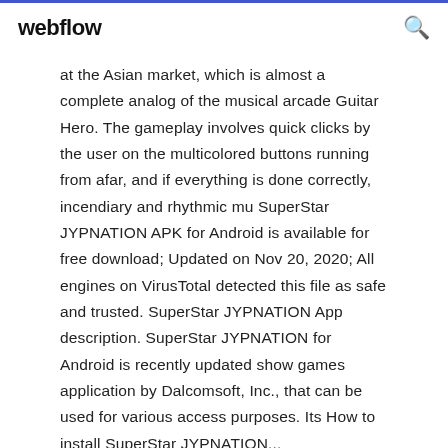webflow
at the Asian market, which is almost a complete analog of the musical arcade Guitar Hero. The gameplay involves quick clicks by the user on the multicolored buttons running from afar, and if everything is done correctly, incendiary and rhythmic mu SuperStar JYPNATION APK for Android is available for free download; Updated on Nov 20, 2020; All engines on VirusTotal detected this file as safe and trusted. SuperStar JYPNATION App description. SuperStar JYPNATION for Android is recently updated show games application by Dalcomsoft, Inc., that can be used for various access purposes. Its How to install SuperStar JYPNATION...